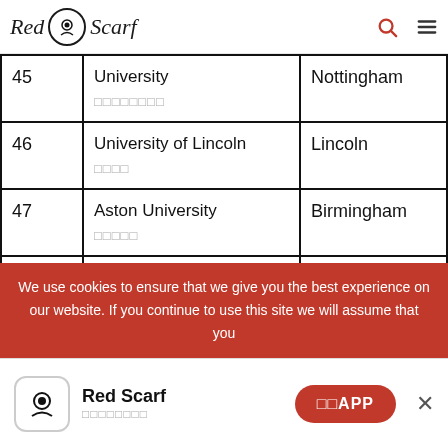Red Scarf
| # | University | City |
| --- | --- | --- |
| 45 | University
□□□□□□□□ | Nottingham |
| 46 | University of Lincoln
□□□□ | Lincoln |
| 47 | Aston University
□□□□□ | Birmingham |
| 48 | SOAS, University of London | London |
We use cookies to ensure that we give you the best experience on our website. If you continue to use this site we will assume that you
Red Scarf □□□□□□□□